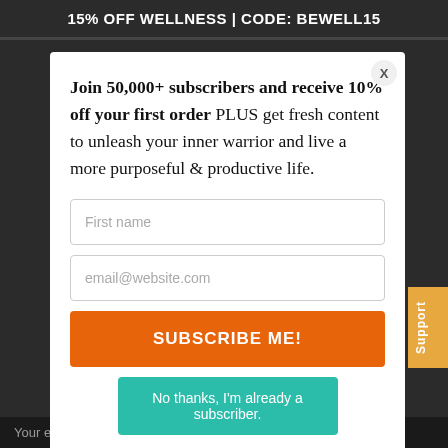15% OFF WELLNESS | CODE: BEWELL15
Join 50,000+ subscribers and receive 10% off your first order PLUS get fresh content to unleash your inner warrior and live a more purposeful & productive life.
First name
email@website.com
SUBSCRIBE ME!
No thanks, I'm already a subscriber.
Your email